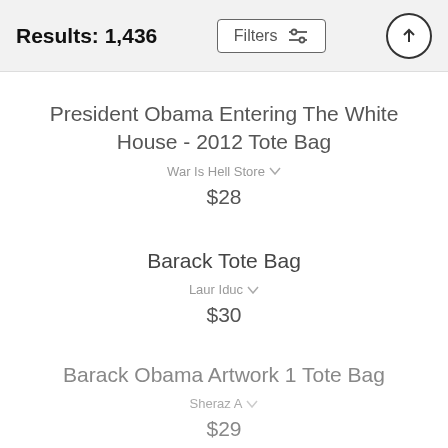Results: 1,436
President Obama Entering The White House - 2012 Tote Bag
War Is Hell Store
$28
Barack Tote Bag
Laur Iduc
$30
Barack Obama Artwork 1 Tote Bag
Sheraz A
$29